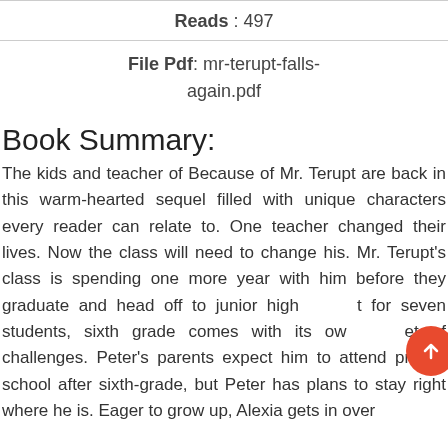Reads : 497
File Pdf: mr-terupt-falls-again.pdf
Book Summary:
The kids and teacher of Because of Mr. Terupt are back in this warm-hearted sequel filled with unique characters every reader can relate to. One teacher changed their lives. Now the class will need to change his. Mr. Terupt’s class is spending one more year with him before they graduate and head off to junior high. For seven students, sixth grade comes with its own set of challenges. Peter’s parents expect him to attend private school after sixth-grade, but Peter has plans to stay right where he is. Eager to grow up, Alexia gets in over